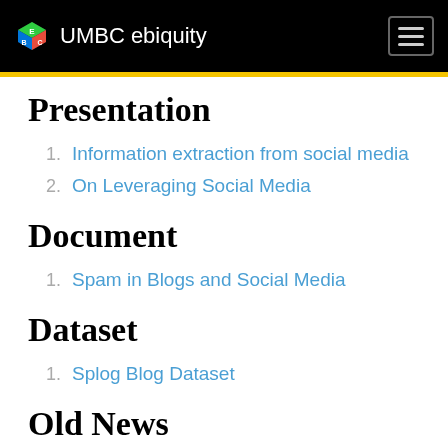UMBC ebiquity
Presentation
Information extraction from social media
On Leveraging Social Media
Document
Spam in Blogs and Social Media
Dataset
Splog Blog Dataset
Old News